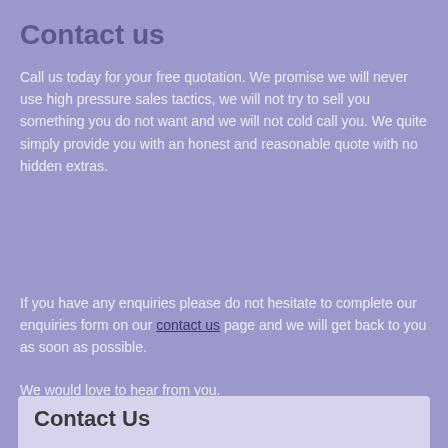Contact us
Call us today for your free quotation. We promise we will never use high pressure sales tactics, we will not try to sell you something you do not want and we will not cold call you. We quite simply provide you with an honest and reasonable quote with no hidden extras.
If you have any enquiries please do not hesitate to complete our enquiries form on our contact us page and we will get back to you as soon as possible.
We would love to hear from you.
Contact Us